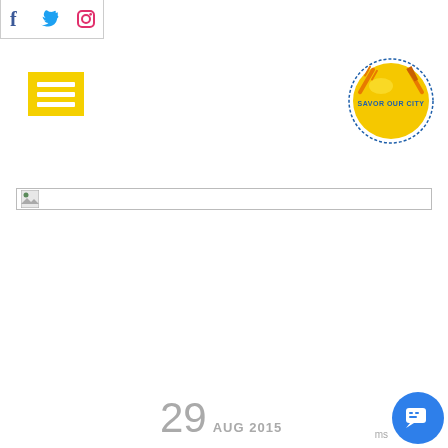[Figure (logo): Social media icons bar: Facebook (f), Twitter bird, Instagram camera icons in a bordered box]
[Figure (logo): Yellow square menu/hamburger icon with three white horizontal bars]
[Figure (logo): Savor Our City circular logo: gold circle with dotted border, fork and knife crossed, text 'SAVOR OUR CITY' in blue]
[Figure (photo): Broken/unloaded image placeholder with small green icon, shown as thin horizontal bar with border]
29 AUG 2015
[Figure (other): Blue circular chat/messaging button with speech bubble icon, bottom right corner. 'ms' text label nearby.]